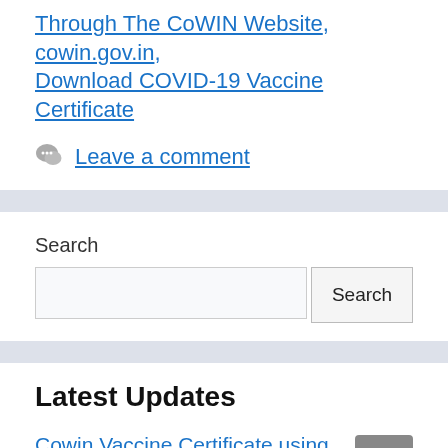Through The CoWIN Website, cowin.gov.in, Download COVID-19 Vaccine Certificate
Leave a comment
Search
Search
Latest Updates
Cowin Vaccine Certificate using Mobile Number
Vaccine Certificate by Aadhar